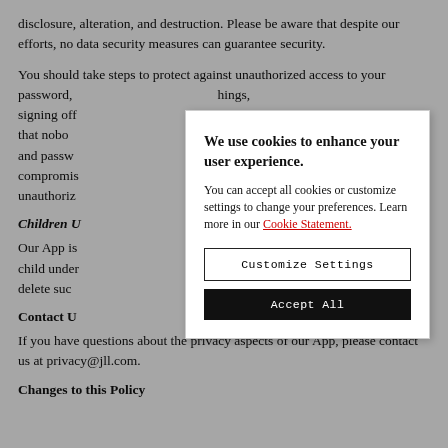disclosure, alteration, and destruction. Please be aware that despite our efforts, no data security measures can guarantee security.
You should take steps to protect against unauthorized access to your password, things, signing off password that nobody our log-in and passw stolen, or compromis t via unauthoriz
Children U
Our App is er that a child under e will delete suc
Contact U
If you have questions about the privacy aspects of our App, please contact us at privacy@jll.com.
Changes to this Policy
[Figure (screenshot): Cookie consent modal overlay with title 'We use cookies to enhance your user experience.', body text about accepting cookies or customizing settings with a link to Cookie Statement, a 'Customize Settings' button and an 'Accept All' button.]